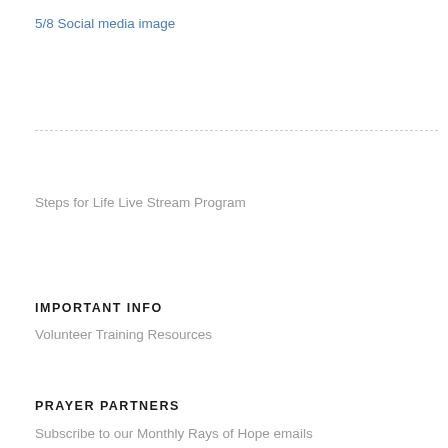5/8 Social media image
Steps for Life Live Stream Program
IMPORTANT INFO
Volunteer Training Resources
PRAYER PARTNERS
Subscribe to our Monthly Rays of Hope emails